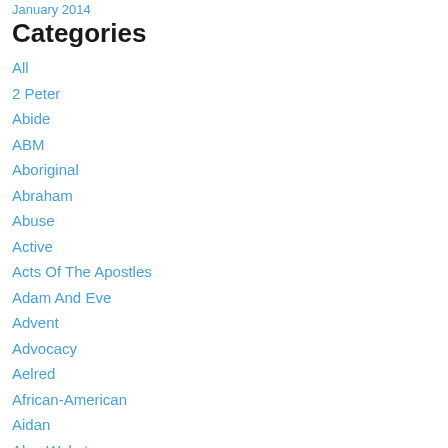January 2014
Categories
All
2 Peter
Abide
ABM
Aboriginal
Abraham
Abuse
Active
Acts Of The Apostles
Adam And Eve
Advent
Advocacy
Aelred
African-American
Aidan
Alan Webster
Albanian
Albert Wendt